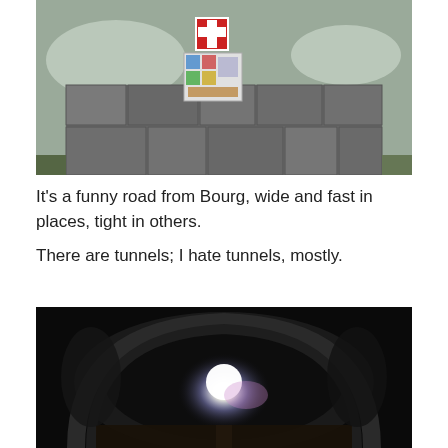[Figure (photo): Aerial or elevated view of a stone wall or bridge structure with signs attached, surrounded by water and rocky/grassy terrain.]
It's a funny road from Bourg, wide and fast in places, tight in others.
There are tunnels; I hate tunnels, mostly.
[Figure (photo): Interior view of a dark road tunnel with a bright light visible at the far end, rock walls visible around the tunnel opening.]